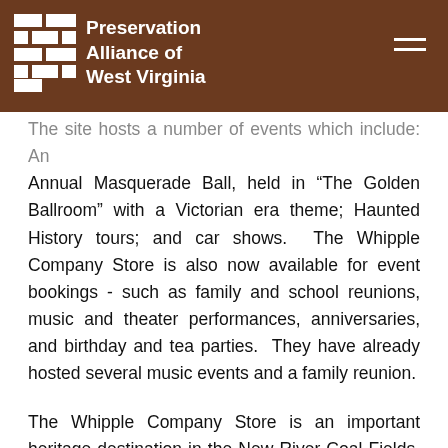Preservation Alliance of West Virginia
The site hosts a number of events which include: An Annual Masquerade Ball, held in “The Golden Ballroom” with a Victorian era theme; Haunted History tours; and car shows.  The Whipple Company Store is also now available for event bookings - such as family and school reunions, music and theater performances, anniversaries, and birthday and tea parties.  They have already hosted several music events and a family reunion.
The Whipple Company Store is an important heritage destination in the New River Coal Fields, representing a critical element in telling the story of the 1921 mine wars, the struggle for unionization, and the lives of the miners and their families.